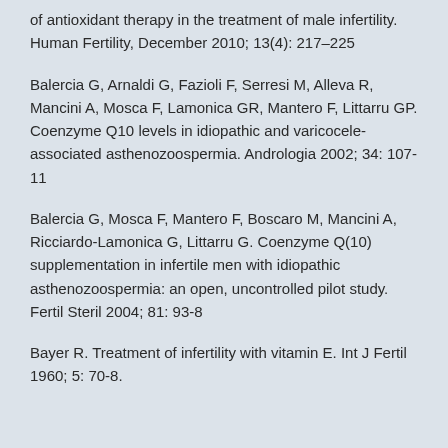of antioxidant therapy in the treatment of male infertility. Human Fertility, December 2010; 13(4): 217–225
Balercia G, Arnaldi G, Fazioli F, Serresi M, Alleva R, Mancini A, Mosca F, Lamonica GR, Mantero F, Littarru GP. Coenzyme Q10 levels in idiopathic and varicocele-associated asthenozoospermia. Andrologia 2002; 34: 107-11
Balercia G, Mosca F, Mantero F, Boscaro M, Mancini A, Ricciardo-Lamonica G, Littarru G. Coenzyme Q(10) supplementation in infertile men with idiopathic asthenozoospermia: an open, uncontrolled pilot study. Fertil Steril 2004; 81: 93-8
Bayer R. Treatment of infertility with vitamin E. Int J Fertil 1960; 5: 70-8.